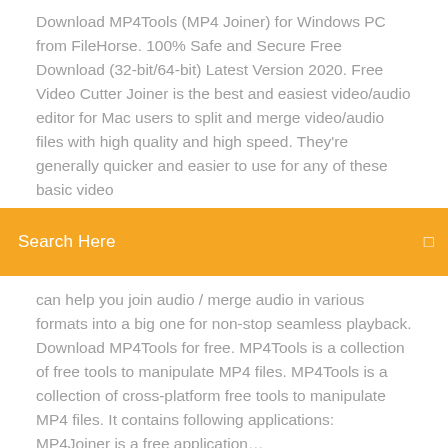Download MP4Tools (MP4 Joiner) for Windows PC from FileHorse. 100% Safe and Secure Free Download (32-bit/64-bit) Latest Version 2020. Free Video Cutter Joiner is the best and easiest video/audio editor for Mac users to split and merge video/audio files with high quality and high speed. They're generally quicker and easier to use for any of these basic video
[Figure (other): Orange search bar with text 'Search Here' and a small icon on the right]
can help you join audio / merge audio in various formats into a big one for non-stop seamless playback. Download MP4Tools for free. MP4Tools is a collection of free tools to manipulate MP4 files. MP4Tools is a collection of cross-platform free tools to manipulate MP4 files. It contains following applications: MP4Joiner is a free application…
Free wallpapers download for minecraft
Download google android widget
Vortex mod manager not downloading mods